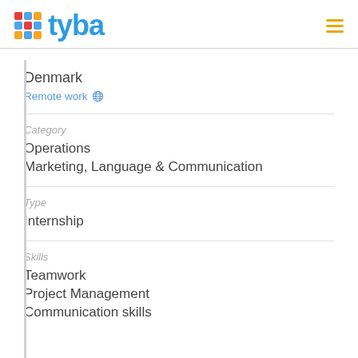tyba
Denmark
Remote work 🌐
Category
Operations
Marketing, Language & Communication
Type
Internship
Skills
Teamwork
Project Management
Communication skills